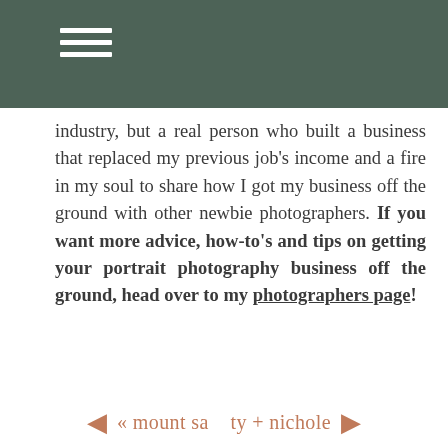≡
industry, but a real person who built a business that replaced my previous job's income and a fire in my soul to share how I got my business off the ground with other newbie photographers. If you want more advice, how-to's and tips on getting your portrait photography business off the ground, head over to my photographers page!
« mount sa   ty + nichole